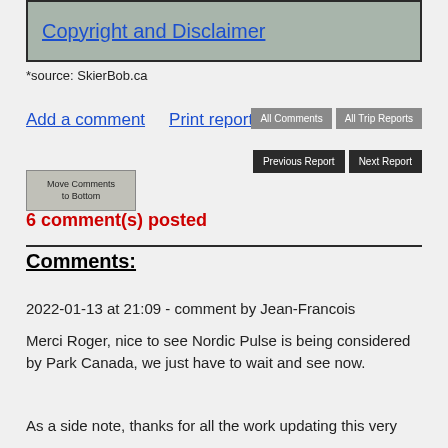Copyright and Disclaimer
*source: SkierBob.ca
Add a comment    Print report
All Comments  All Trip Reports  Previous Report  Next Report
Move Comments to Bottom
6 comment(s) posted
Comments:
2022-01-13 at 21:09 - comment by Jean-Francois
Merci Roger, nice to see Nordic Pulse is being considered by Park Canada, we just have to wait and see now.
As a side note, thanks for all the work updating this very